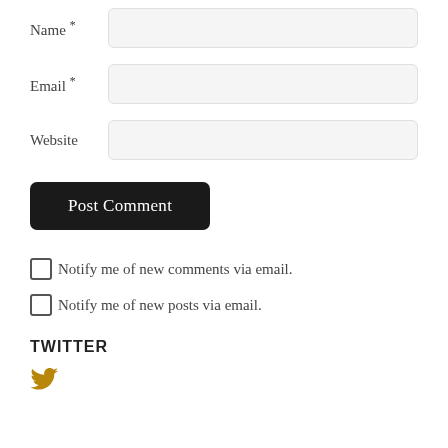Name *
Email *
Website
Post Comment
Notify me of new comments via email.
Notify me of new posts via email.
TWITTER